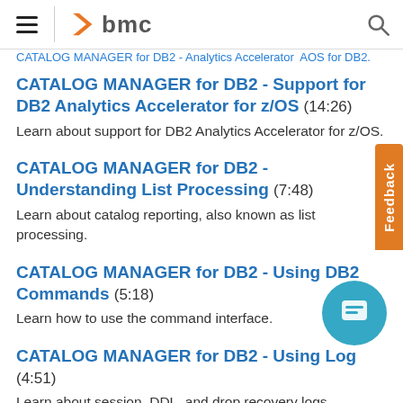BMC navigation bar with hamburger menu and BMC logo
CATALOG MANAGER for DB2 - Support for DB2 Analytics Accelerator for z/OS (14:26)
Learn about support for DB2 Analytics Accelerator for z/OS.
CATALOG MANAGER for DB2 - Understanding List Processing (7:48)
Learn about catalog reporting, also known as list processing.
CATALOG MANAGER for DB2 - Using DB2 Commands (5:18)
Learn how to use the command interface.
CATALOG MANAGER for DB2 - Using Log (4:51)
Learn about session, DDL, and drop recovery logs.